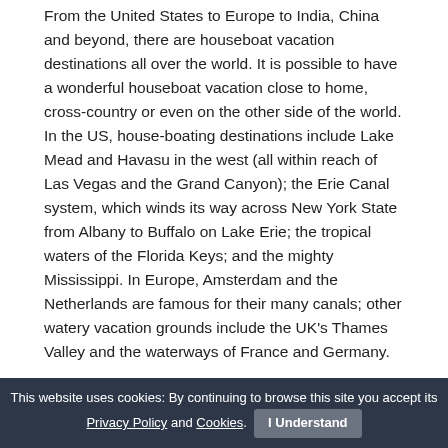From the United States to Europe to India, China and beyond, there are houseboat vacation destinations all over the world. It is possible to have a wonderful houseboat vacation close to home, cross-country or even on the other side of the world. In the US, house-boating destinations include Lake Mead and Havasu in the west (all within reach of Las Vegas and the Grand Canyon); the Erie Canal system, which winds its way across New York State from Albany to Buffalo on Lake Erie; the tropical waters of the Florida Keys; and the mighty Mississippi. In Europe, Amsterdam and the Netherlands are famous for their many canals; other watery vacation grounds include the UK's Thames Valley and the waterways of France and Germany.
In the Far East, houseboats are still a very common sight on the waters of both great and small rivers and waterways. Vietnam, China, Cambodia, Kashmir and
This website uses cookies: By continuing to browse this site you accept its Privacy Policy and Cookies. I Understand